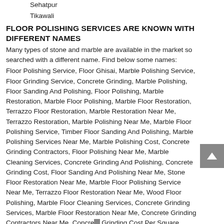Sehatpur
Tikawali
FLOOR POLISHING SERVICES ARE KNOWN WITH DIFFERENT NAMES
Many types of stone and marble are available in the market so searched with a different name. Find below some names:
Floor Polishing Service, Floor Ghisai, Marble Polishing Service, Floor Grinding Service, Concrete Grinding, Marble Polishing, Floor Sanding And Polishing, Floor Polishing, Marble Restoration, Marble Floor Polishing, Marble Floor Restoration, Terrazzo Floor Restoration, Marble Restoration Near Me, Terrazzo Restoration, Marble Polishing Near Me, Marble Floor Polishing Service, Timber Floor Sanding And Polishing, Marble Polishing Services Near Me, Marble Polishing Cost, Concrete Grinding Contractors, Floor Polishing Near Me, Marble Cleaning Services, Concrete Grinding And Polishing, Concrete Grinding Cost, Floor Sanding And Polishing Near Me, Stone Floor Restoration Near Me, Marble Floor Polishing Service Near Me, Terrazzo Floor Restoration Near Me, Wood Floor Polishing, Marble Floor Cleaning Services, Concrete Grinding Services, Marble Floor Restoration Near Me, Concrete Grinding Contractors Near Me, Concrete Grinding Cost Per Square Metre, Concrete Floor Grinding Contractors Near Me, Marble Polishing Stone, Concrete Grinding Companies Near Me, Wooden Floor Sanding And Polishing, Terrazzo Restoration Near Me, Marble Cleaning And Polishing, Marble Polishing Service Near Me, Terrazzo Floor Polishing, Professional Marble Cleaning, Marble Flo...